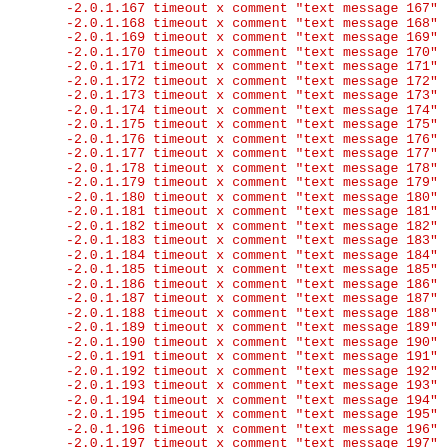-2.0.1.167 timeout x comment "text message 167"
-2.0.1.168 timeout x comment "text message 168"
-2.0.1.169 timeout x comment "text message 169"
-2.0.1.170 timeout x comment "text message 170"
-2.0.1.171 timeout x comment "text message 171"
-2.0.1.172 timeout x comment "text message 172"
-2.0.1.173 timeout x comment "text message 173"
-2.0.1.174 timeout x comment "text message 174"
-2.0.1.175 timeout x comment "text message 175"
-2.0.1.176 timeout x comment "text message 176"
-2.0.1.177 timeout x comment "text message 177"
-2.0.1.178 timeout x comment "text message 178"
-2.0.1.179 timeout x comment "text message 179"
-2.0.1.180 timeout x comment "text message 180"
-2.0.1.181 timeout x comment "text message 181"
-2.0.1.182 timeout x comment "text message 182"
-2.0.1.183 timeout x comment "text message 183"
-2.0.1.184 timeout x comment "text message 184"
-2.0.1.185 timeout x comment "text message 185"
-2.0.1.186 timeout x comment "text message 186"
-2.0.1.187 timeout x comment "text message 187"
-2.0.1.188 timeout x comment "text message 188"
-2.0.1.189 timeout x comment "text message 189"
-2.0.1.190 timeout x comment "text message 190"
-2.0.1.191 timeout x comment "text message 191"
-2.0.1.192 timeout x comment "text message 192"
-2.0.1.193 timeout x comment "text message 193"
-2.0.1.194 timeout x comment "text message 194"
-2.0.1.195 timeout x comment "text message 195"
-2.0.1.196 timeout x comment "text message 196"
-2.0.1.197 timeout x comment "text message 197"